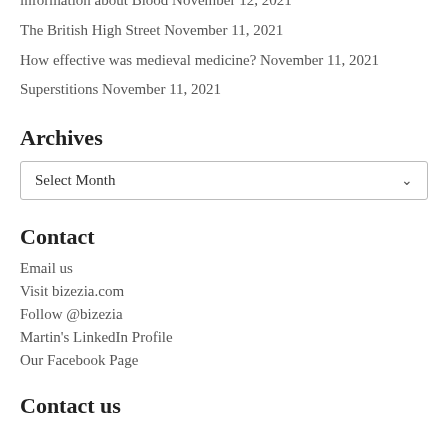information about Blood November 12, 2021
The British High Street November 11, 2021
How effective was medieval medicine? November 11, 2021
Superstitions November 11, 2021
Archives
Select Month
Contact
Email us
Visit bizezia.com
Follow @bizezia
Martin's LinkedIn Profile
Our Facebook Page
Contact us